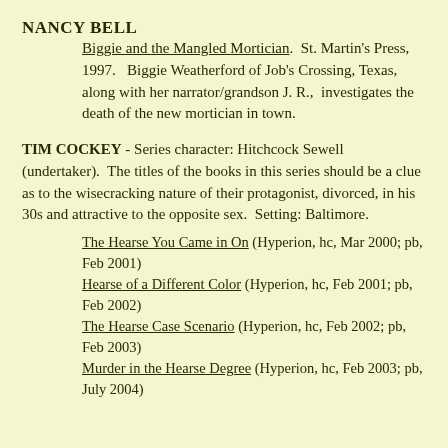NANCY BELL
Biggie and the Mangled Mortician. St. Martin's Press, 1997. Biggie Weatherford of Job's Crossing, Texas, along with her narrator/grandson J. R., investigates the death of the new mortician in town.
TIM COCKEY - Series character: Hitchcock Sewell (undertaker). The titles of the books in this series should be a clue as to the wisecracking nature of their protagonist, divorced, in his 30s and attractive to the opposite sex. Setting: Baltimore.
The Hearse You Came in On (Hyperion, hc, Mar 2000; pb, Feb 2001)
Hearse of a Different Color (Hyperion, hc, Feb 2001; pb, Feb 2002)
The Hearse Case Scenario (Hyperion, hc, Feb 2002; pb, Feb 2003)
Murder in the Hearse Degree (Hyperion, hc, Feb 2003; pb, July 2004)